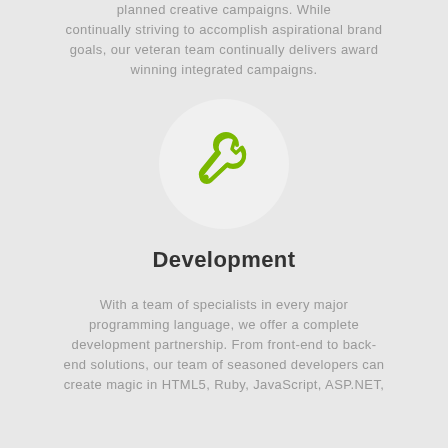planned creative campaigns. While continually striving to accomplish aspirational brand goals, our veteran team continually delivers award winning integrated campaigns.
[Figure (illustration): A wrench/spanner icon in green/olive color centered inside a light gray circle]
Development
With a team of specialists in every major programming language, we offer a complete development partnership. From front-end to back-end solutions, our team of seasoned developers can create magic in HTML5, Ruby, JavaScript, ASP.NET,